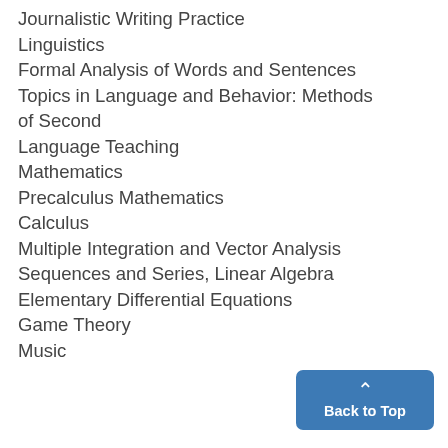Journalistic Writing Practice
Linguistics
Formal Analysis of Words and Sentences
Topics in Language and Behavior: Methods of Second Language Teaching
Mathematics
Precalculus Mathematics
Calculus
Multiple Integration and Vector Analysis
Sequences and Series, Linear Algebra
Elementary Differential Equations
Game Theory
Music